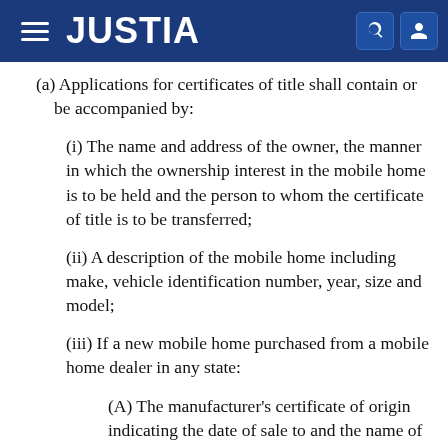JUSTIA
(a) Applications for certificates of title shall contain or be accompanied by:
(i) The name and address of the owner, the manner in which the ownership interest in the mobile home is to be held and the person to whom the certificate of title is to be transferred;
(ii) A description of the mobile home including make, vehicle identification number, year, size and model;
(iii) If a new mobile home purchased from a mobile home dealer in any state:
(A) The manufacturer's certificate of origin indicating the date of sale to and the name of the first person receiving it from the manufacturer and a